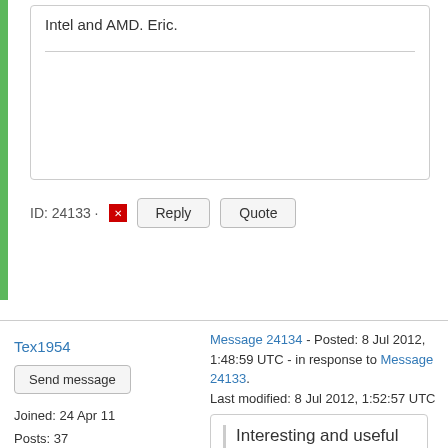Intel and AMD. Eric.
ID: 24133 · Reply Quote
Tex1954
Send message
Joined: 24 Apr 11
Posts: 37
Credit: 1,160,105
RAC: 0
Message 24134 - Posted: 8 Jul 2012, 1:48:59 UTC - in response to Message 24133.
Last modified: 8 Jul 2012, 1:52:57 UTC
Interesting and useful feedback. sse2/3 run faster because SixTrack was originaly vectorised for the Cray or pipelined and